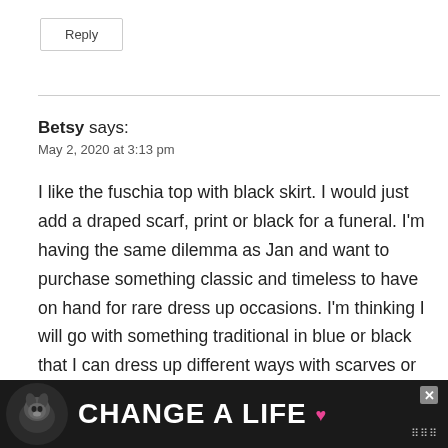Reply
Betsy says:
May 2, 2020 at 3:13 pm
I like the fuschia top with black skirt. I would just add a draped scarf, print or black for a funeral. I'm having the same dilemma as Jan and want to purchase something classic and timeless to have on hand for rare dress up occasions. I'm thinking I will go with something traditional in blue or black that I can dress up different ways with scarves or jewelry. I just o... from T... brist
[Figure (screenshot): Advertisement banner at the bottom of the page: dark background with a dog image and the text 'CHANGE A LIFE' with a heart symbol, plus a close (X) button and a logo.]